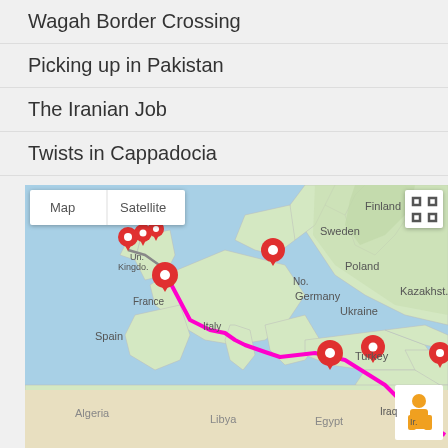Wagah Border Crossing
Picking up in Pakistan
The Iranian Job
Twists in Cappadocia
[Figure (map): Google Maps screenshot showing a travel route from UK through Europe, Turkey, Iran, and toward Pakistan, marked with a magenta/pink route line and multiple red location pins.]